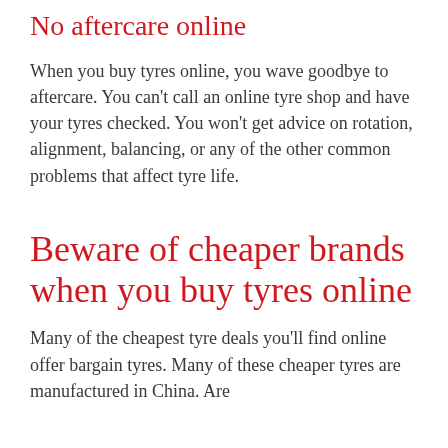No aftercare online
When you buy tyres online, you wave goodbye to aftercare. You can't call an online tyre shop and have your tyres checked. You won't get advice on rotation, alignment, balancing, or any of the other common problems that affect tyre life.
Beware of cheaper brands when you buy tyres online
Many of the cheapest tyre deals you'll find online offer bargain tyres. Many of these cheaper tyres are manufactured in China. Are